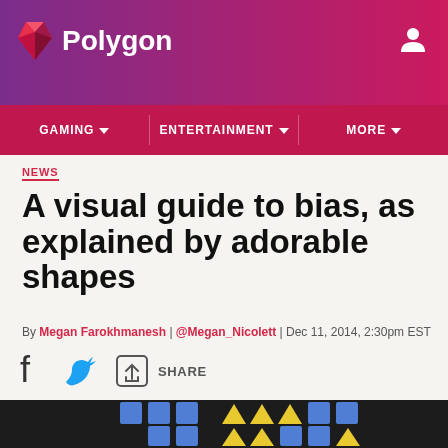Polygon
GAMING | ENTERTAINMENT | MORE
NEWS
A visual guide to bias, as explained by adorable shapes
By Megan Farokhmanesh | @Megan_Nicolett | Dec 11, 2014, 2:30pm EST
[Figure (infographic): Share buttons including Facebook, Twitter, and a share icon with SHARE text]
[Figure (illustration): Dark background with cartoon blue square characters and yellow triangle characters arranged in rows]